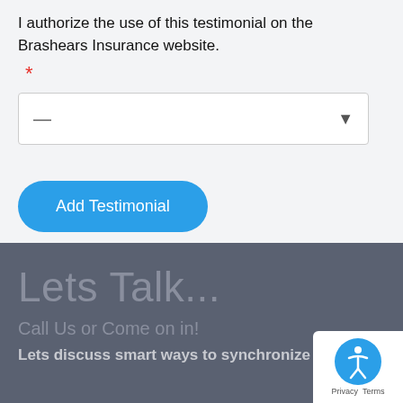I authorize the use of this testimonial on the Brashears Insurance website.
*
[Figure (screenshot): A dropdown select input field with a dash placeholder and a downward arrow indicator.]
Add Testimonial
Lets Talk...
Call Us or Come on in!
Lets discuss smart ways to synchronize
[Figure (logo): Accessibility icon badge with a blue circular background, person/wheelchair symbol, and Privacy/Terms text below.]